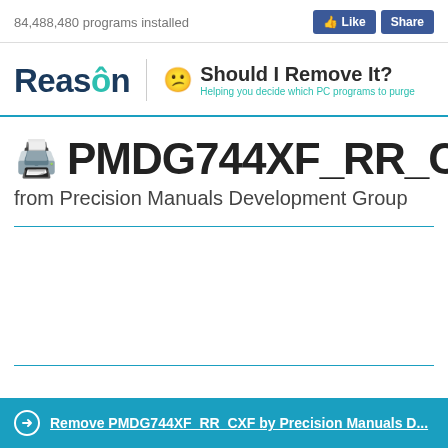84,488,480 programs installed
[Figure (logo): Reason / Should I Remove It? logo with tagline: Helping you decide which PC programs to purge]
PMDG744XF_RR_CXF
from Precision Manuals Development Group
Remove PMDG744XF_RR_CXF by Precision Manuals D...